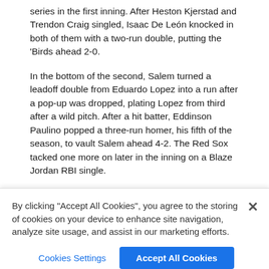series in the first inning. After Heston Kjerstad and Trendon Craig singled, Isaac De León knocked in both of them with a two-run double, putting the 'Birds ahead 2-0.
In the bottom of the second, Salem turned a leadoff double from Eduardo Lopez into a run after a pop-up was dropped, plating Lopez from third after a wild pitch. After a hit batter, Eddinson Paulino popped a three-run homer, his fifth of the season, to vault Salem ahead 4-2. The Red Sox tacked one more on later in the inning on a Blaze Jordan RBI single.
A bevy of Salem errors got Delmarva back in the game in the fourth. Trendon Craig walked to start the inning and then stole second. Isaac De León then singled him to third before Creed Willems hit a tapper back to the mound that was thrown wildly to first, allowing both Craig and De León to score. Two outs later
By clicking “Accept All Cookies”, you agree to the storing of cookies on your device to enhance site navigation, analyze site usage, and assist in our marketing efforts.